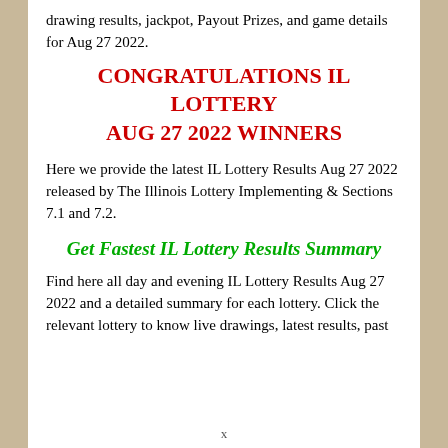drawing results, jackpot, Payout Prizes, and game details for Aug 27 2022.
CONGRATULATIONS IL LOTTERY AUG 27 2022 WINNERS
Here we provide the latest IL Lottery Results Aug 27 2022 released by The Illinois Lottery Implementing & Sections 7.1 and 7.2.
Get Fastest IL Lottery Results Summary
Find here all day and evening IL Lottery Results Aug 27 2022 and a detailed summary for each lottery. Click the relevant lottery to know live drawings, latest results, past
x